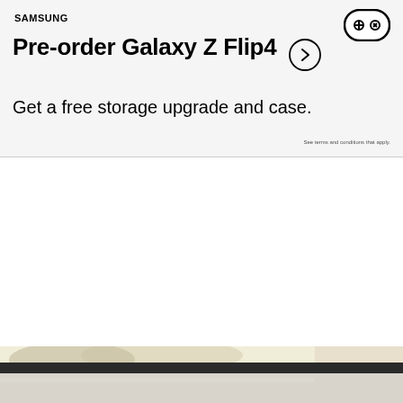SAMSUNG
Pre-order Galaxy Z Flip4
Get a free storage upgrade and case.
See terms and conditions that apply.
[Figure (photo): Partial view of a car's side mirror and rooftop against a bright outdoor background with trees]